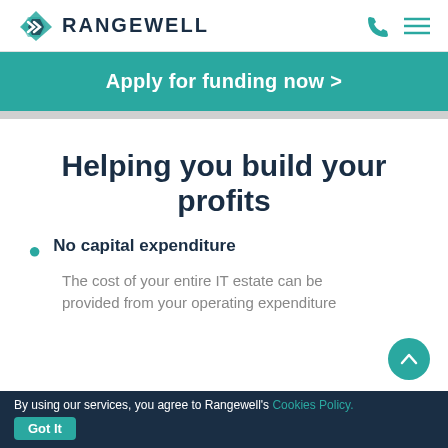RANGEWELL
Apply for funding now >
Helping you build your profits
No capital expenditure
The cost of your entire IT estate can be provided from your operating expenditure
By using our services, you agree to Rangewell's Cookies Policy. Got It